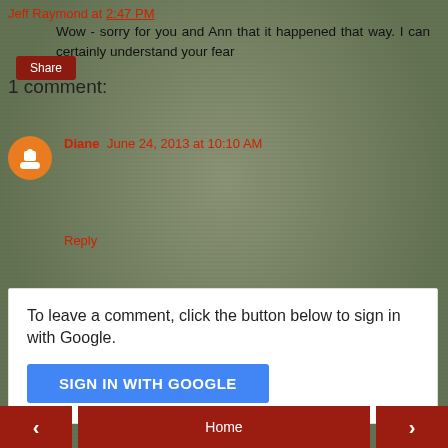Jeff Raymond at 2:47 PM
Share
1 comment:
Diane June 24, 2013 at 10:10 AM
Wow - sorry for you and Ann that it happened that way. I can certainly understand your fear
Reply
To leave a comment, click the button below to sign in with Google.
SIGN IN WITH GOOGLE
< Home >